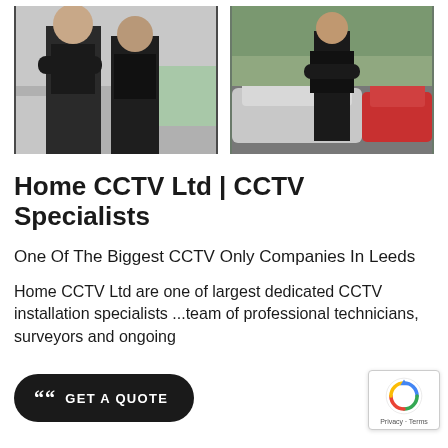[Figure (photo): Two people in black uniforms standing together, with a white car partially visible in the background.]
[Figure (photo): A person in black uniform standing in a car park next to a silver car, with other cars visible in the background.]
Home CCTV Ltd | CCTV Specialists
One Of The Biggest CCTV Only Companies In Leeds
Home CCTV Ltd are one of largest dedicated CCTV installation specialists ...team of professional technicians, surveyors and ongoing
GET A QUOTE